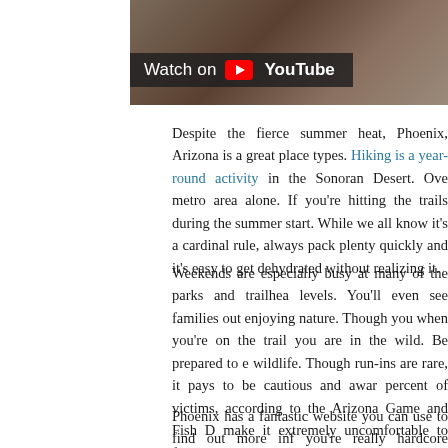[Figure (screenshot): YouTube video thumbnail showing rocky desert terrain with a 'Watch on YouTube' overlay bar]
Despite the fierce summer heat, Phoenix, Arizona is a great place types. Hiking is a year-round activity in the Sonoran Desert. Ove metro area alone. If you're hitting the trails during the summer start. While we all know it's a cardinal rule, always pack plenty quickly and it's easy to get dehydrated without realizing it.
Weekends are especially busy at many of the parks and trailhea levels. You'll even see families out enjoying nature. Though you when you're on the trail you are in the wild. Be prepared to e wildlife. Though run-ins are rare, it pays to be cautious and awar percent of victims, according to the Arizona Game and Fish D make it extremely uncomfortable to finish your hike and seek me
Phoenix has a fantastic website you can use to find out more inf you're really hardcore though, these are our must-hike trails.